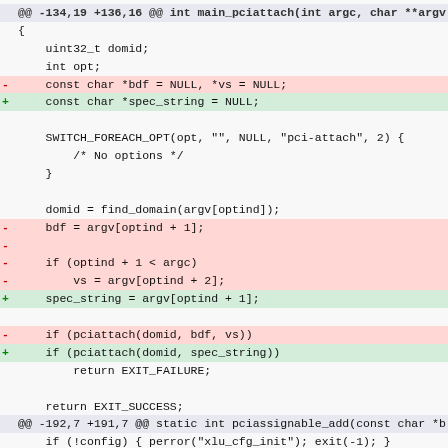@@ -134,19 +136,16 @@ int main_pciattach(int argc, char **argv
{
    uint32_t domid;
    int opt;
-   const char *bdf = NULL, *vs = NULL;
+   const char *spec_string = NULL;

    SWITCH_FOREACH_OPT(opt, "", NULL, "pci-attach", 2) {
        /* No options */
    }

    domid = find_domain(argv[optind]);
-   bdf = argv[optind + 1];
-
-   if (optind + 1 < argc)
-       vs = argv[optind + 2];
+   spec_string = argv[optind + 1];

-   if (pciattach(domid, bdf, vs))
+   if (pciattach(domid, spec_string))
        return EXIT_FAILURE;

    return EXIT_SUCCESS;
}
@@ -192,7 +191,7 @@ static int pciassignable_add(const char *b
    if (!config) { perror("xlu_cfg_init"); exit(-1); }